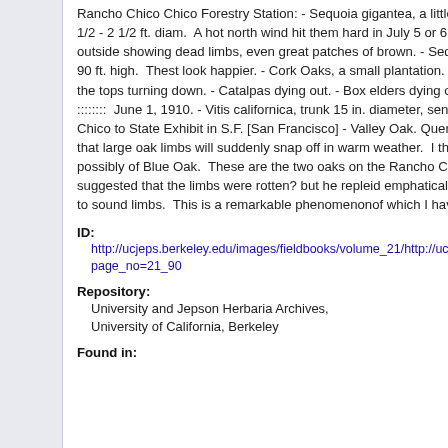Rancho Chico Chico Forestry Station: - Sequoia gigantea, a little grove of trees, 50 - 60 ft. high & 1 1/2 - 2 1/2 ft. diam.  A hot north wind hit them hard in July 5 or 6 years ago, some of those on the outside showing dead limbs, even great patches of brown. - Sequoia sempervirens, a few trees, 80 - 90 ft. high.  Thest look happier. - Cork Oaks, a small plantation.  They insist on behaving like vines, the tops turning down. - Catalpas dying out. - Box elders dying out. - Douglas Spruces, doing well. ::::::::  June 1, 1910. - Vitis californica, trunk 15 in. diameter, sent by Colonel Royce from Rancho Chico to State Exhibit in S.F. [San Francisco] - Valley Oak. Quercus lobata Bth. Colonel Royce says that large oak limbs will suddenly snap off in warm weather.  I think he speaks of Valley Oak but possibly of Blue Oak.  These are the two oaks on the Rancho Chico, everywhere common.  I suggested that the limbs were rotten? but he repleid emphatically no! that this phenomenon related to sound limbs.  This is a remarkable phenomenonof which I have heard before
ID: http://ucjeps.berkeley.edu/images/fieldbooks/volume_21/http://ucjeps.berkeley.edu/cgi-bin/display_fb.pl?page_no=21_90
Repository: University and Jepson Herbaria Archives, University of California, Berkeley
Found in: